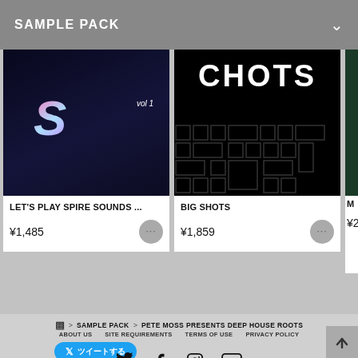SAMPLE PACK
[Figure (screenshot): Sample pack product card: LET'S PLAY SPIRE SOUNDS ... with dark blue background and stylized S logo, vol 1]
LET'S PLAY SPIRE SOUNDS ...
¥1,485
[Figure (screenshot): Sample pack product card: BIG SHOTS with black background and white bold text maze pattern]
BIG SHOTS
¥1,859
M
¥2
SAMPLE PACK > PETE MOSS PRESENTS DEEP HOUSE ROOTS
ABOUT US   SITE REQUIREMENTS   TERMS OF USE   PRIVACY POLICY
ツイートする
Japanese  |  English ここをクリックForJapanese User向
© Crypton Future Media, INC.